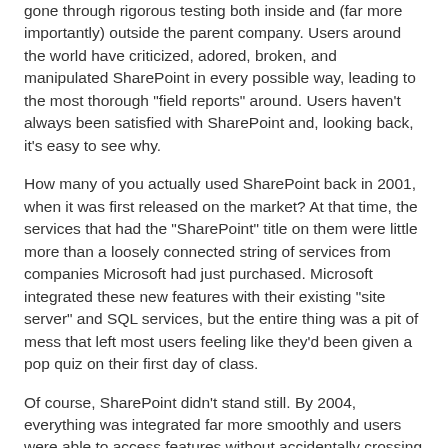gone through rigorous testing both inside and (far more importantly) outside the parent company. Users around the world have criticized, adored, broken, and manipulated SharePoint in every possible way, leading to the most thorough "field reports" around. Users haven't always been satisfied with SharePoint and, looking back, it's easy to see why.
How many of you actually used SharePoint back in 2001, when it was first released on the market? At that time, the services that had the "SharePoint" title on them were little more than a loosely connected string of services from companies Microsoft had just purchased. Microsoft integrated these new features with their existing "site server" and SQL services, but the entire thing was a pit of mess that left most users feeling like they'd been given a pop quiz on their first day of class.
Of course, SharePoint didn't stand still. By 2004, everything was integrated far more smoothly and users were able to access features without accidentally crossing wires at each turn. Customization also started with the (difficult to use and